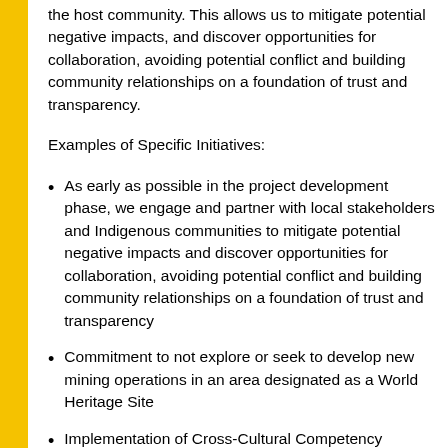the host community. This allows us to mitigate potential negative impacts, and discover opportunities for collaboration, avoiding potential conflict and building community relationships on a foundation of trust and transparency.
Examples of Specific Initiatives:
As early as possible in the project development phase, we engage and partner with local stakeholders and Indigenous communities to mitigate potential negative impacts and discover opportunities for collaboration, avoiding potential conflict and building community relationships on a foundation of trust and transparency
Commitment to not explore or seek to develop new mining operations in an area designated as a World Heritage Site
Implementation of Cross-Cultural Competency Training...